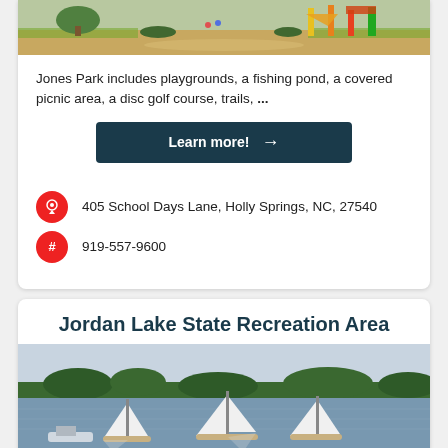[Figure (photo): Aerial view of Jones Park with playground equipment and green lawns]
Jones Park includes playgrounds, a fishing pond, a covered picnic area, a disc golf course, trails, ...
Learn more! →
405 School Days Lane, Holly Springs, NC, 27540
919-557-9600
Jordan Lake State Recreation Area
[Figure (photo): Sailboats on Jordan Lake with forested shoreline in background]